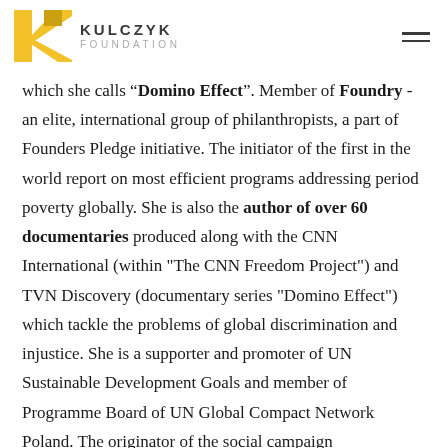Kulczyk Foundation
which she calls “Domino Effect”. Member of Foundry - an elite, international group of philanthropists, a part of Founders Pledge initiative. The initiator of the first in the world report on most efficient programs addressing period poverty globally. She is also the author of over 60 documentaries produced along with the CNN International (within "The CNN Freedom Project") and TVN Discovery (documentary series "Domino Effect") which tackle the problems of global discrimination and injustice. She is a supporter and promoter of UN Sustainable Development Goals and member of Programme Board of UN Global Compact Network Poland. The originator of the social campaign “Tenderness and Freedom” (“Czułość i Wolność”) and a promoter of the idea of a sensitive revolution aimed at restoring the balance between the global position of women and men. She is the President of the Supervisory Board of